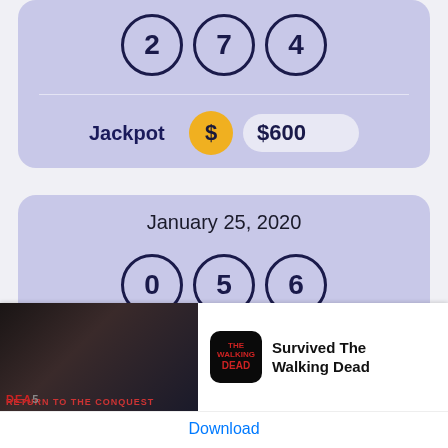[Figure (other): Lottery card top portion showing balls with numbers 2, 7, 4 on lavender background]
Jackpot  $600
January 25, 2020
[Figure (other): Lottery card showing balls with numbers 0, 5, 6 on lavender background]
[Figure (other): Ad banner: Return to the Conquest / Survived The Walking Dead app advertisement with Download button]